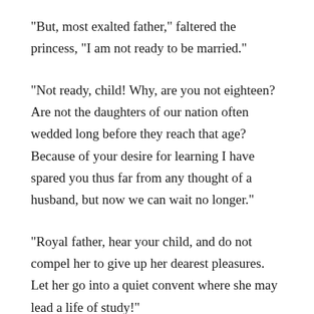"But, most exalted father," faltered the princess, "I am not ready to be married."
"Not ready, child! Why, are you not eighteen? Are not the daughters of our nation often wedded long before they reach that age? Because of your desire for learning I have spared you thus far from any thought of a husband, but now we can wait no longer."
"Royal father, hear your child, and do not compel her to give up her dearest pleasures. Let her go into a quiet convent where she may lead a life of study!"
The king sighed deeply at hearing these words. He loved his daughter and did not wish to wound her. "Kwan-yin," he